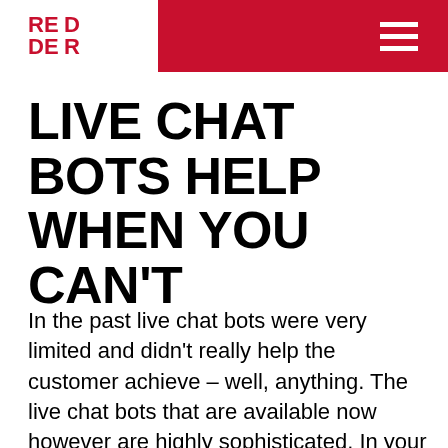REDDER [logo] [hamburger menu]
LIVE CHAT BOTS HELP WHEN YOU CAN'T
In the past live chat bots were very limited and didn't really help the customer achieve – well, anything. The live chat bots that are available now however are highly sophisticated. In your absence, they can lead potential customers to relevant articles based on what they are searching for. They can also send you reminders to respond to the client as soon as you are available. Even when you are away handling other parts of your business you can know when people are